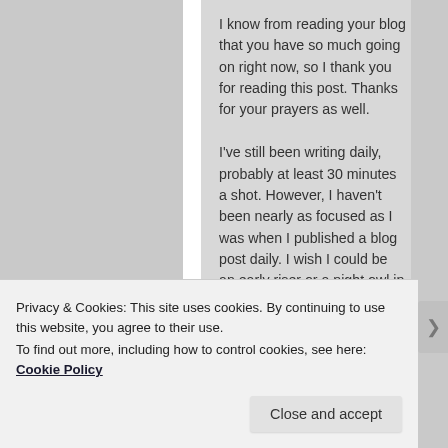I know from reading your blog that you have so much going on right now, so I thank you for reading this post. Thanks for your prayers as well.
I've still been writing daily, probably at least 30 minutes a shot. However, I haven't been nearly as focused as I was when I published a blog post daily. I wish I could be an early riser or a night owl in order to write when it's quiet, but my meds prevent me from doing that right now. I'm reducing my nightly dose of Seroquel, so I might be able to get up early to write, and (even
Privacy & Cookies: This site uses cookies. By continuing to use this website, you agree to their use.
To find out more, including how to control cookies, see here: Cookie Policy